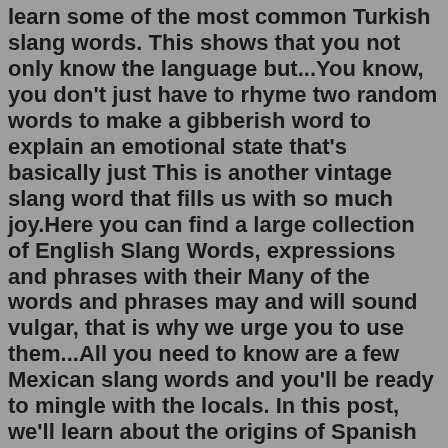Turks you run to end with, it is also a good idea to learn some of the most common Turkish slang words. This shows that you not only know the language but...You know, you don't just have to rhyme two random words to make a gibberish word to explain an emotional state that's basically just This is another vintage slang word that fills us with so much joy.Here you can find a large collection of English Slang Words, expressions and phrases with their Many of the words and phrases may and will sound vulgar, that is why we urge you to use them...All you need to know are a few Mexican slang words and you'll be ready to mingle with the locals. In this post, we'll learn about the origins of Spanish in Mexico, why it has so many words that don't exist...Slang pops up constantly in British English without natives even realising. So let's crack on and learn some. 20 British slang words you need to know! by Laura Jones.Synonyms for SLANG: argot, cant, dialect, jargon, jive, language, lingo, patois A word for sandals and flip-flops, a common sight everywhere in